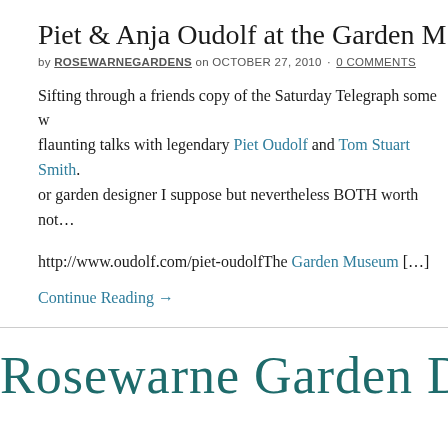Piet & Anja Oudolf at the Garden M
by ROSEWARNEGARDENS on OCTOBER 27, 2010 · 0 COMMENTS
Sifting through a friends copy of the Saturday Telegraph some w... flaunting talks with legendary Piet Oudolf and Tom Stuart Smith... or garden designer I suppose but nevertheless BOTH worth not...
http://www.oudolf.com/piet-oudolfThe Garden Museum [...]
Continue Reading →
Rosewarne Garden Des